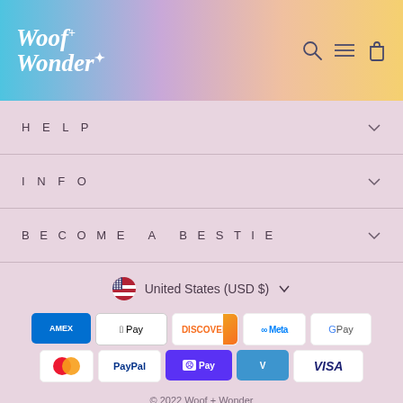Woof + Wonder
HELP
INFO
BECOME A BESTIE
United States (USD $)
[Figure (other): Payment method icons: American Express, Apple Pay, Discover, Meta Pay, Google Pay, Mastercard, PayPal, Shop Pay, Venmo, Visa]
© 2022 Woof + Wonder